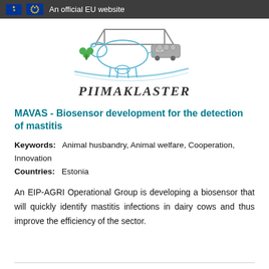An official EU website
[Figure (logo): Piimaklaster logo featuring a stylized dairy cow, green clover leaf, milk tanker truck under a barn roof, and the text PIIMAKLASTER in a handwritten-style font]
MAVAS - Biosensor development for the detection of mastitis
Keywords: Animal husbandry, Animal welfare, Cooperation, Innovation
Countries: Estonia
An EIP-AGRI Operational Group is developing a biosensor that will quickly identify mastitis infections in dairy cows and thus improve the efficiency of the sector.